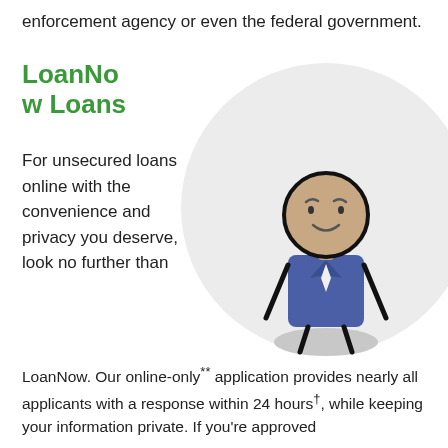enforcement agency or even the federal government.
LoanNow Loans
For unsecured loans online with the convenience and privacy you deserve, look no further than LoanNow. Our online-only** application provides nearly all applicants with a response within 24 hours†, while keeping your information private. If you're approved
[Figure (illustration): Cartoon stick figure of a man wearing a blue suit with a white tie, standing on a gray shadow ellipse, inside a large light gray circle background.]